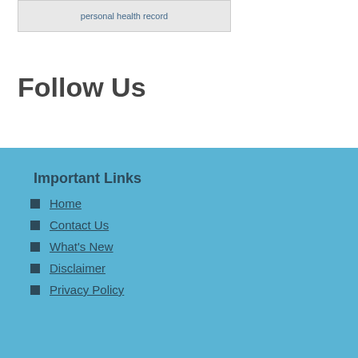[Figure (logo): Personal health record logo with 'personal health record' text]
Follow Us
Important Links
Home
Contact Us
What's New
Disclaimer
Privacy Policy